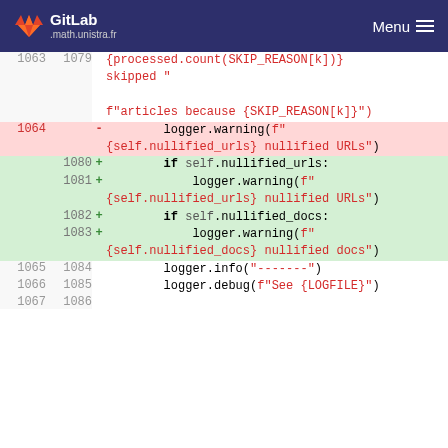GitLab .math.unistra.fr  Menu
[Figure (screenshot): GitLab diff view showing code changes around lines 1063-1067 (old) and 1079-1086 (new). Removed line 1064 shows logger.warning call. Added lines 1080-1083 show conditional checks for nullified_urls and nullified_docs with logger.warning calls.]